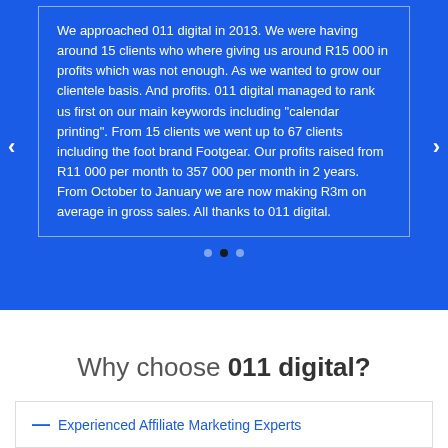We approached 011 digital in 2013. We were having around 15 clients who where giving us around R15 000 in profits which was not enough. As we wanted to grow our clientele basis. And profits. 011 digital managed to rank us first on our main keywords including "calendar printing". From 15 clients we went up to 67 clients including the foot brand Footgear. Our profits raised from R11 000 per month to 357 000 per month in 2 years. From October to January we are now making R3m on average in gross sales. All thanks to 011 digital.
[Figure (other): Carousel navigation dots: three dots, middle one is active (dark)]
Why choose 011 digital?
— Experienced Affiliate Marketing Experts